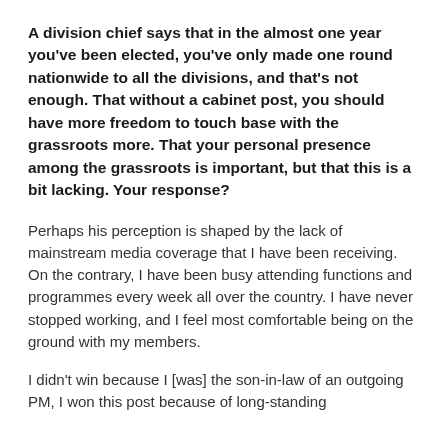A division chief says that in the almost one year you've been elected, you've only made one round nationwide to all the divisions, and that's not enough. That without a cabinet post, you should have more freedom to touch base with the grassroots more. That your personal presence among the grassroots is important, but that this is a bit lacking. Your response?
Perhaps his perception is shaped by the lack of mainstream media coverage that I have been receiving. On the contrary, I have been busy attending functions and programmes every week all over the country. I have never stopped working, and I feel most comfortable being on the ground with my members.
I didn't win because I [was] the son-in-law of an outgoing PM, I won this post because of long-standing